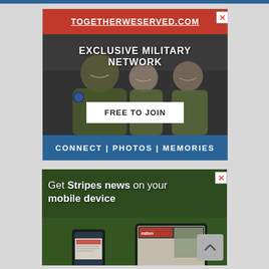[Figure (screenshot): Top thin blue navigation bar]
[Figure (screenshot): TogetherWeServed.com advertisement banner showing TOGETHERWESERVED.COM in red header, EXCLUSIVE MILITARY NETWORK text over dark photo of three smiling women in military flight suits, FREE TO JOIN button, and blue bar with CONNECT | PHOTOS | MEMORIES]
[Figure (screenshot): Stripes news advertisement showing 'Get Stripes news on your mobile device' text over dark green background with phones showing Stripes newspaper, with close X button and scroll-to-top arrow button]